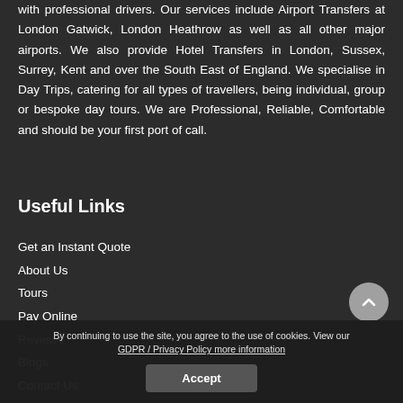with professional drivers. Our services include Airport Transfers at London Gatwick, London Heathrow as well as all other major airports. We also provide Hotel Transfers in London, Sussex, Surrey, Kent and over the South East of England. We specialise in Day Trips, catering for all types of travellers, being individual, group or bespoke day tours. We are Professional, Reliable, Comfortable and should be your first port of call.
Useful Links
Get an Instant Quote
About Us
Tours
Pay Online
Reviews
Blogs
Contact Us
By continuing to use the site, you agree to the use of cookies. View our GDPR / Privacy Policy more information